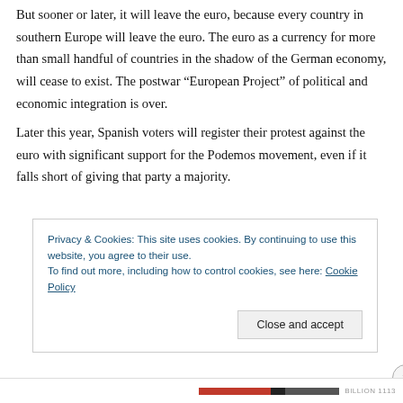But sooner or later, it will leave the euro, because every country in southern Europe will leave the euro. The euro as a currency for more than small handful of countries in the shadow of the German economy, will cease to exist. The postwar “European Project” of political and economic integration is over.
Later this year, Spanish voters will register their protest against the euro with significant support for the Podemos movement, even if it falls short of giving that party a majority.
Privacy & Cookies: This site uses cookies. By continuing to use this website, you agree to their use.
To find out more, including how to control cookies, see here: Cookie Policy
Close and accept